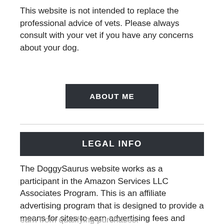This website is not intended to replace the professional advice of vets. Please always consult with your vet if you have any concerns about your dog.
ABOUT ME
LEGAL INFO
The DoggySaurus website works as a participant in the Amazon Services LLC Associates Program. This is an affiliate advertising program that is designed to provide a means for sites to earn advertising fees and revenue by advertising and linking to amazon.com with recommendations. As an Amazon Associate I earn from qualifying purchases.